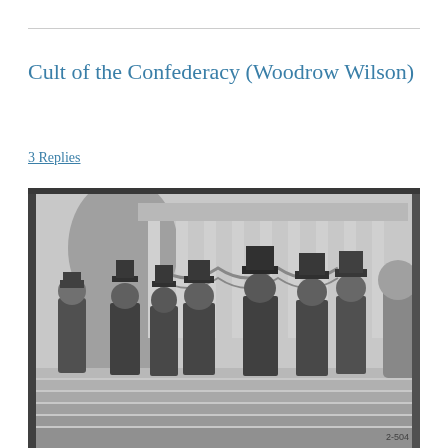Cult of the Confederacy (Woodrow Wilson)
3 Replies
[Figure (photo): Black and white historical photograph of a group of men in formal attire and top hats standing on the steps of what appears to be the US Capitol building, with columns and decorative bunting visible in the background. A small number '2-504' appears in the lower right corner of the photo.]